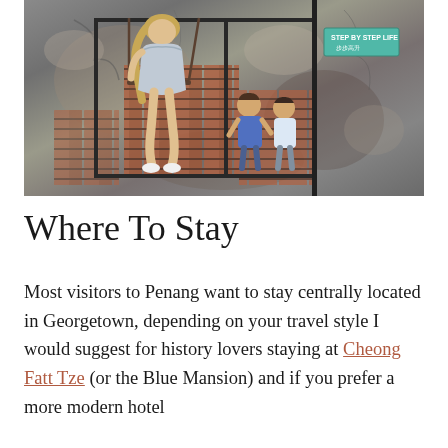[Figure (photo): A woman standing on a swing attached to a metal frame in front of a weathered wall with exposed brickwork. Two children are painted on the wall inside a box/frame. A street sign is visible in the upper right. This appears to be a famous street art installation in George Town, Penang.]
Where To Stay
Most visitors to Penang want to stay centrally located in Georgetown, depending on your travel style I would suggest for history lovers staying at Cheong Fatt Tze (or the Blue Mansion) and if you prefer a more modern hotel